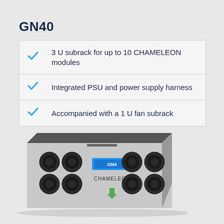GN40
3 U subrack for up to 10 CHAMELEON modules
Integrated PSU and power supply harness
Accompanied with a 1 U fan subrack
[Figure (photo): Photo of a GN40 3U subrack device with silver front panel, black circular connectors on left and right sides, a blue CHAMELEON logo label in the center, and a green arrow-shaped indicator below the label. The device is shown in perspective view.]